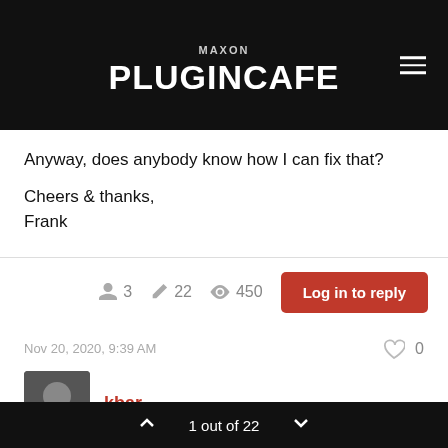MAXON PLUGINCAFE
Anyway, does anybody know how I can fix that?

Cheers & thanks,
Frank
3  22  450  Log in to reply
Nov 20, 2020, 9:39 AM  0
kbar
1 out of 22